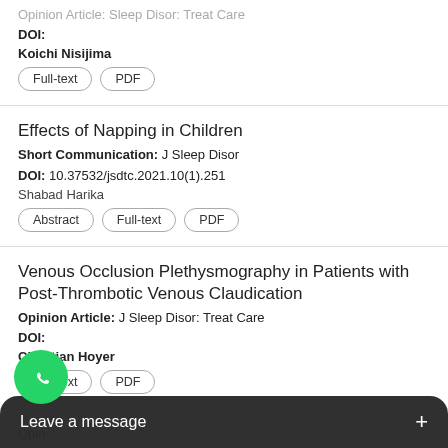Opinion Article: Sleep Disor: Treat Care
DOI:
Koichi Nisijima
Full-text | PDF
Effects of Napping in Children
Short Communication: J Sleep Disor
DOI: 10.37532/jsdtc.2021.10(1).251
Shabad Harika
Abstract | Full-text | PDF
Venous Occlusion Plethysmography in Patients with Post-Thrombotic Venous Claudication
Opinion Article: J Sleep Disor: Treat Care
DOI:
Christian Hoyer
Full-text | PDF
Opin
Leave a message +